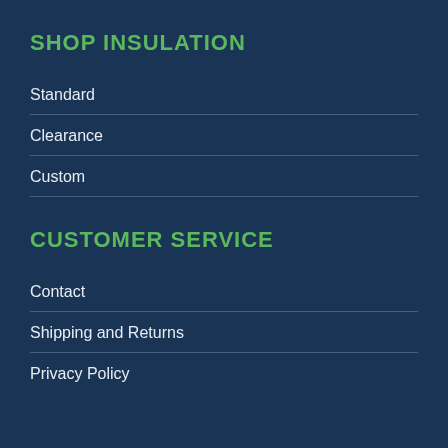SHOP INSULATION
Standard
Clearance
Custom
CUSTOMER SERVICE
Contact
Shipping and Returns
Privacy Policy